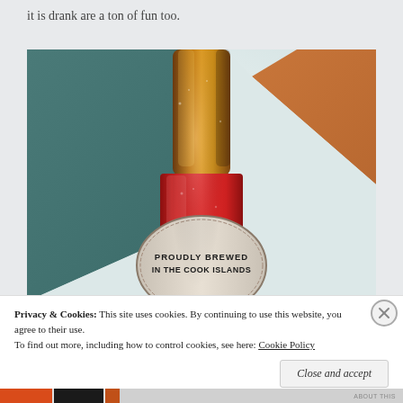it is drank are a ton of fun too.
[Figure (photo): Close-up photo of a beer bottle from below, showing the amber bottle neck and a red label reading 'PROUDLY BREWED IN THE COOK ISLANDS' with 'MATUI' brand name at bottom. Background shows teal/green and orange surfaces.]
Privacy & Cookies: This site uses cookies. By continuing to use this website, you agree to their use.
To find out more, including how to control cookies, see here: Cookie Policy
Close and accept